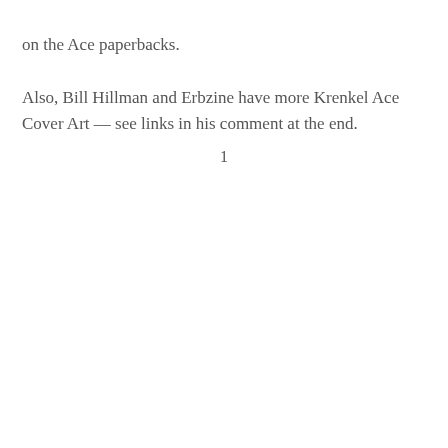on the Ace paperbacks.
Also, Bill Hillman and Erbzine have more Krenkel Ace Cover Art — see links in his comment at the end.
1